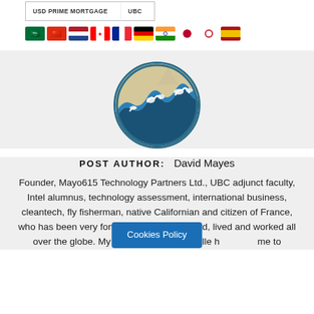| USD PRIME MORTGAGE | UBC |
| --- | --- |
[Figure (illustration): Row of country flag emoji icons: Saudi Arabia, China, Netherlands, Canada, France, Germany, India, Japan, South Korea, Spain]
[Figure (photo): Circular avatar image featuring a Japanese woodblock wave painting (Great Wave style)]
POST AUTHOR:  David Mayes
Founder, Mayo615 Technology Partners Ltd., UBC adjunct faculty, Intel alumnus, technology assessment, international business, cleantech, fly fisherman, native Californian and citizen of France, who has been very fortunate to have traveled, lived and worked all over the globe. My wonderful wife, Isabelle h…me to
Cookies Policy